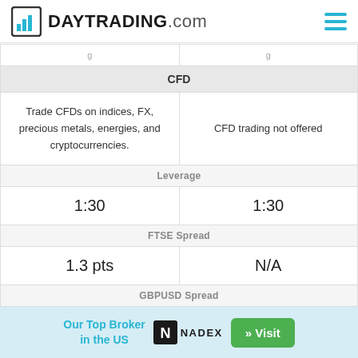DAYTRADING.com
|  |  |
| --- | --- |
| CFD |  |
| Trade CFDs on indices, FX, precious metals, energies, and cryptocurrencies. | CFD trading not offered |
| Leverage |  |
| 1:30 | 1:30 |
| FTSE Spread |  |
| 1.3 pts | N/A |
| GBPUSD Spread |  |
| 0.4 pips | From 0.9 |
| Oil Spread |  |
Our Top Broker in the US
NADEX
» Visit